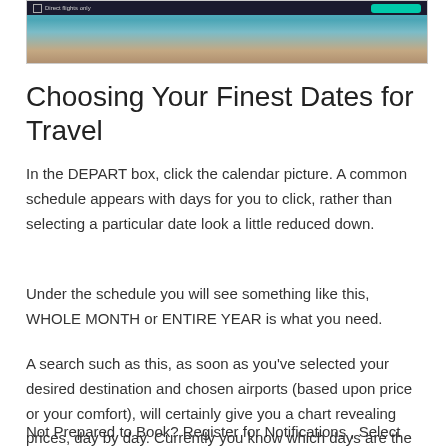[Figure (screenshot): Screenshot of a flight booking website showing a dark navigation bar with a checkbox labeled 'Direct flights only' and a teal search button, over a beach/ocean background image]
Choosing Your Finest Dates for Travel
In the DEPART box, click the calendar picture. A common schedule appears with days for you to click, rather than selecting a particular date look a little reduced down.
Under the schedule you will see something like this, WHOLE MONTH or ENTIRE YEAR is what you need.
A search such as this, as soon as you've selected your desired destination and chosen airports (based upon price or your comfort), will certainly give you a chart revealing prices, day by day. Currently you know which days are the most inexpensive.
Not Prepared to Book? Register for Notifications , Select the trip